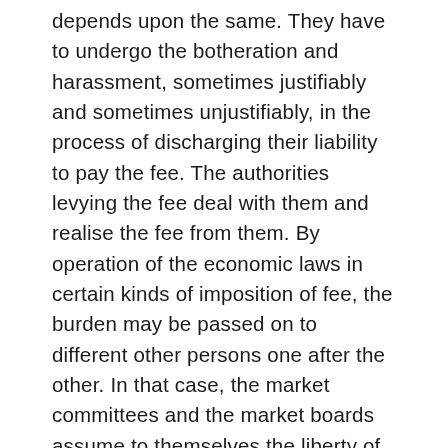depends upon the same. They have to undergo the botheration and harassment, sometimes justifiably and sometimes unjustifiably, in the process of discharging their liability to pay the fee. The authorities levying the fee deal with them and realise the fee from them. By operation of the economic laws in certain kinds of imposition of fee, the burden may be passed on to different other persons one after the other. In that case, the market committees and the market boards assume to themselves the liberty of utilising and spending the realisations from market fees to a considerable extent as if it was a tax although in reality it was not so. It